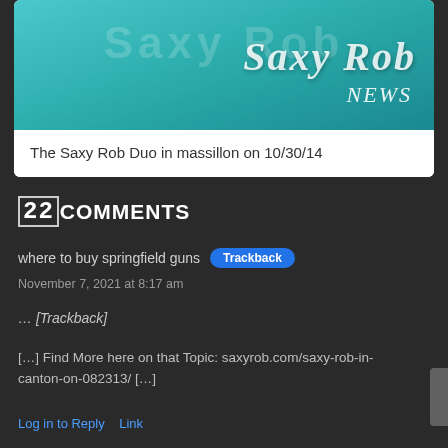[Figure (screenshot): Teal/turquoise banner with decorative white logo text for 'Saxy Rob News' website]
The Saxy Rob Duo in massillon on 10/30/14
22 Comments
where to buy springfield guns [Trackback]
November 7, 2021 at 8:17 am
… [Trackback]
[…] Find More here on that Topic: saxyrob.com/saxy-rob-in-canton-on-082313/ […]
Log in to Reply   Link